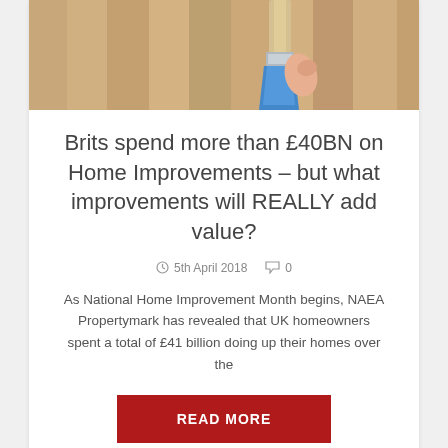[Figure (photo): Photo of a hand holding a blue paintbrush painting a wooden surface, close-up.]
Brits spend more than £40BN on Home Improvements – but what improvements will REALLY add value?
5th April 2018   0
As National Home Improvement Month begins, NAEA Propertymark has revealed that UK homeowners spent a total of £41 billion doing up their homes over the
READ MORE